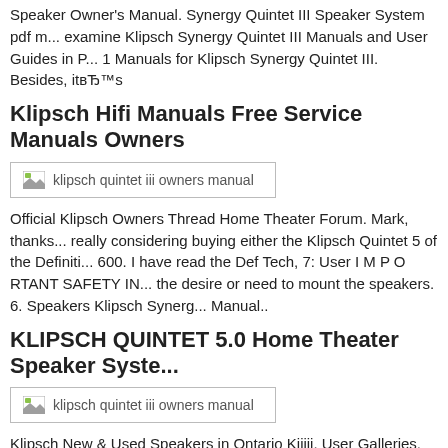Speaker Owner's Manual. Synergy Quintet III Speaker System pdf m... examine Klipsch Synergy Quintet III Manuals and User Guides in P... 1 Manuals for Klipsch Synergy Quintet III. Besides, it's
Klipsch Hifi Manuals Free Service Manuals Owners
[Figure (photo): Placeholder image labeled 'klipsch quintet iii owners manual']
Official Klipsch Owners Thread Home Theater Forum. Mark, thanks... really considering buying either the Klipsch Quintet 5 of the Definiti... 600. I have read the Def Tech, 7: User I M P O RTANT SAFETY IN... the desire or need to mount the speakers. 6. Speakers Klipsch Synerg... Manual..
KLIPSCH QUINTET 5.0 Home Theater Speaker Syste...
[Figure (photo): Placeholder image labeled 'klipsch quintet iii owners manual']
Klipsch New & Used Speakers in Ontario Kijiji. User Galleries. Mik... Quintet V 5.0 "Newest Version: FOR SALE: Klipsch Quintet Hom...